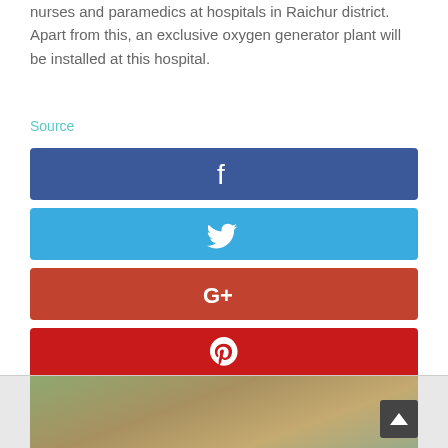nurses and paramedics at hospitals in Raichur district. Apart from this, an exclusive oxygen generator plant will be installed at this hospital.
Source
[Figure (infographic): Social media share buttons: Facebook (dark blue), Twitter (light blue), Google+ (orange-red), Pinterest (red), LinkedIn (blue)]
[Figure (photo): Outdoor scene with people in a field, partially visible at the bottom of the page. A scroll-to-top button is visible in the bottom right corner.]